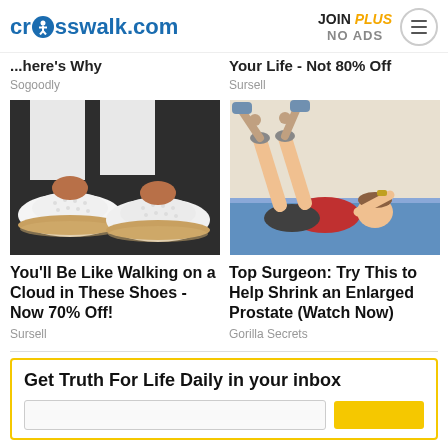crosswalk.com | JOIN PLUS NO ADS
...here's why | Your Life - Not 80% Off
Sogoodly | Sursell
[Figure (photo): Close-up of white perforated slip-on sneakers with tan sole worn by a person in white pants]
[Figure (illustration): Illustration of a person lying on a yoga mat with legs raised, being assisted with a stretch]
You'll Be Like Walking on a Cloud in These Shoes - Now 70% Off!
Top Surgeon: Try This to Help Shrink an Enlarged Prostate (Watch Now)
Sursell
Gorilla Secrets
Get Truth For Life Daily in your inbox